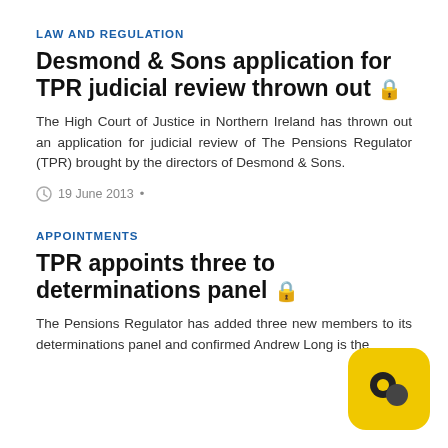LAW AND REGULATION
Desmond & Sons application for TPR judicial review thrown out 🔒
The High Court of Justice in Northern Ireland has thrown out an application for judicial review of The Pensions Regulator (TPR) brought by the directors of Desmond & Sons.
19 June 2013 •
APPOINTMENTS
TPR appoints three to determinations panel 🔒
The Pensions Regulator has added three new members to its determinations panel and confirmed Andrew Long is the